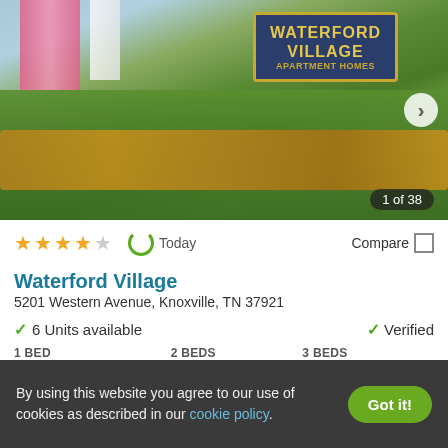[Figure (photo): Exterior photo of Waterford Village Apartment Homes entrance sign with landscaping, pink flags, and orange flowers. Shows '1 of 38' counter.]
★★★★☆   Today   Compare
Waterford Village
5201 Western Avenue, Knoxville, TN 37921
✓ 6 Units available   ✓ Verified
| 1 BED | 2 BEDS | 3 BEDS |
| --- | --- | --- |
| Ask for pricing | $1,689+ | $1,750+ |
By using this website you agree to our use of cookies as described in our cookie policy.